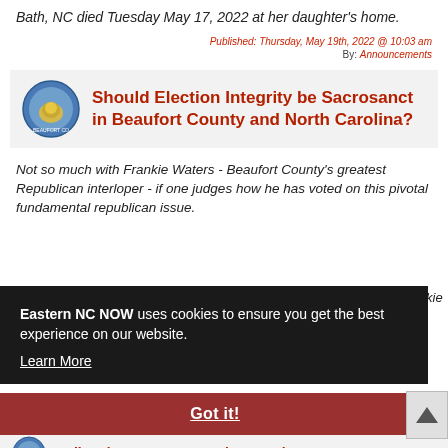Bath, NC died Tuesday May 17, 2022 at her daughter's home.
Published: Thursday, May 19th, 2022 @ 10:03 am
By: Announcements
Should Election Integrity be Sacrosanct in Beaufort County and North Carolina?
Not so much with Frankie Waters - Beaufort County's greatest Republican interloper - if one judges how he has voted on this pivotal fundamental republican issue.
Eastern NC NOW uses cookies to ensure you get the best experience on our website. Learn More
Got it!
Soil and Water Conservation Meeting